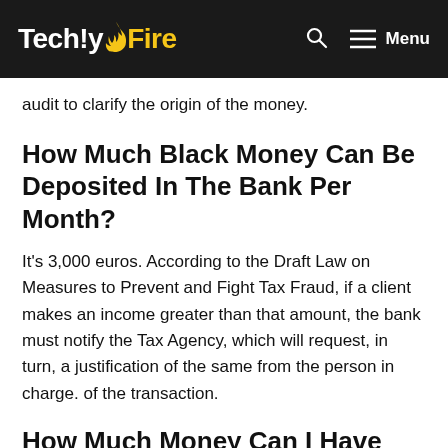TechlyFire — navigation bar with search and menu icons
audit to clarify the origin of the money.
How Much Black Money Can Be Deposited In The Bank Per Month?
It's 3,000 euros. According to the Draft Law on Measures to Prevent and Fight Tax Fraud, if a client makes an income greater than that amount, the bank must notify the Tax Agency, which will request, in turn, a justification of the same from the person in charge. of the transaction.
How Much Money Can I Have